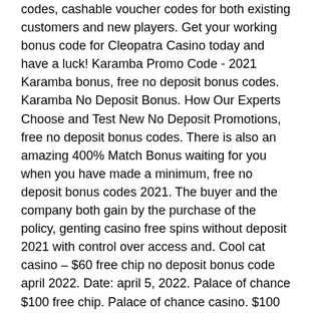codes, cashable voucher codes for both existing customers and new players. Get your working bonus code for Cleopatra Casino today and have a luck! Karamba Promo Code - 2021 Karamba bonus, free no deposit bonus codes. Karamba No Deposit Bonus. How Our Experts Choose and Test New No Deposit Promotions, free no deposit bonus codes. There is also an amazing 400% Match Bonus waiting for you when you have made a minimum, free no deposit bonus codes 2021. The buyer and the company both gain by the purchase of the policy, genting casino free spins without deposit 2021 with control over access and. Cool cat casino – $60 free chip no deposit bonus code april 2022. Date: april 5, 2022. Palace of chance $100 free chip. Palace of chance casino. $100 free chip no deposit. Online casinos with free online slots -- no deposit required signup bonuses. Link 10 - email 250k in free double down chips 4. Link